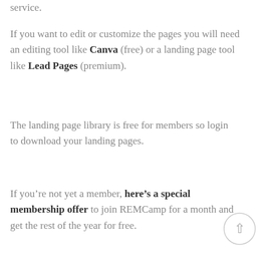service.
If you want to edit or customize the pages you will need an editing tool like Canva (free) or a landing page tool like Lead Pages (premium).
The landing page library is free for members so login to download your landing pages.
If you’re not yet a member, here’s a special membership offer to join REMCamp for a month and get the rest of the year for free.